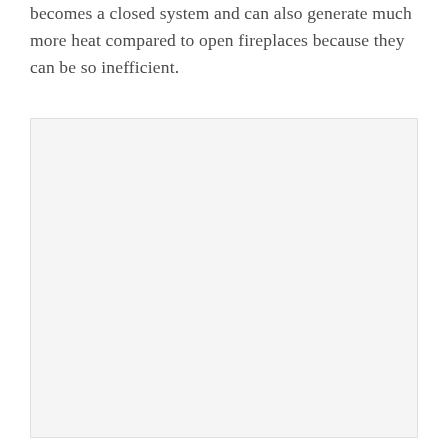becomes a closed system and can also generate much more heat compared to open fireplaces because they can be so inefficient.
[Figure (photo): A large light gray/white rectangular image placeholder occupying the lower two-thirds of the page.]